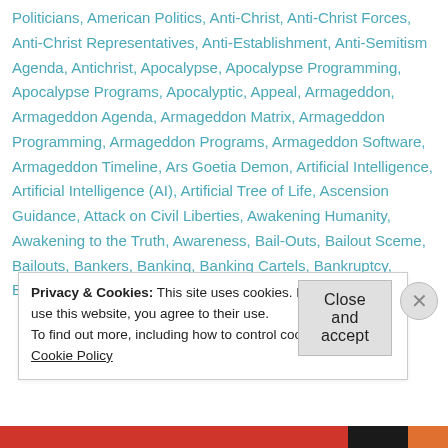Politicians, American Politics, Anti-Christ, Anti-Christ Forces, Anti-Christ Representatives, Anti-Establishment, Anti-Semitism Agenda, Antichrist, Apocalypse, Apocalypse Programming, Apocalypse Programs, Apocalyptic, Appeal, Armageddon, Armageddon Agenda, Armageddon Matrix, Armageddon Programming, Armageddon Programs, Armageddon Software, Armageddon Timeline, Ars Goetia Demon, Artificial Intelligence, Artificial Intelligence (AI), Artificial Tree of Life, Ascension Guidance, Attack on Civil Liberties, Awakening Humanity, Awakening to the Truth, Awareness, Bail-Outs, Bailout Sceme, Bailouts, Bankers, Banking, Banking Cartels, Bankruptcy, Banksters, Bees, Big Pharma, Big Pharma Cartel,
Privacy & Cookies: This site uses cookies. By continuing to use this website, you agree to their use.
To find out more, including how to control cookies, see here: Cookie Policy